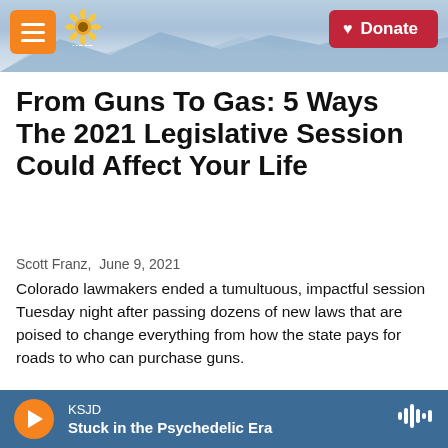[Figure (screenshot): KSJD radio website header with mountain landscape background, orange hamburger menu button on left, KSJD sunflower logo, and red Donate button on right]
From Guns To Gas: 5 Ways The 2021 Legislative Session Could Affect Your Life
Scott Franz,  June 9, 2021
Colorado lawmakers ended a tumultuous, impactful session Tuesday night after passing dozens of new laws that are poised to change everything from how the state pays for roads to who can purchase guns.
[Figure (screenshot): LISTEN • 4:44 audio play button]
[Figure (photo): Partial view of a black and white swirling abstract image at bottom of page]
KSJD  Stuck in the Psychedelic Era